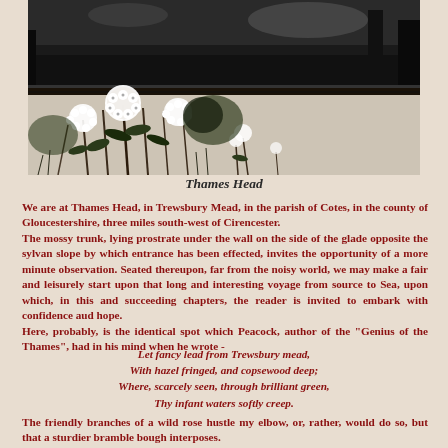[Figure (illustration): Black and white engraving showing Thames Head scene: dark water/landscape at top, with lush flowering plants (white blooms) and foliage in the foreground below]
Thames Head
We are at Thames Head, in Trewsbury Mead, in the parish of Cotes, in the county of Gloucestershire, three miles south-west of Cirencester. The mossy trunk, lying prostrate under the wall on the side of the glade opposite the sylvan slope by which entrance has been effected, invites the opportunity of a more minute observation. Seated thereupon, far from the noisy world, we may make a fair and leisurely start upon that long and interesting voyage from source to Sea, upon which, in this and succeeding chapters, the reader is invited to embark with confidence aud hope. Here, probably, is the identical spot which Peacock, author of the "Genius of the Thames", had in his mind when he wrote -
Let fancy lead from Trewsbury mead,
With hazel fringed, and copsewood deep;
Where, scarcely seen, through brilliant green,
Thy infant waters softly creep.
The friendly branches of a wild rose hustle my elbow, or, rather, would do so, but that a sturdier bramble bough interposes.